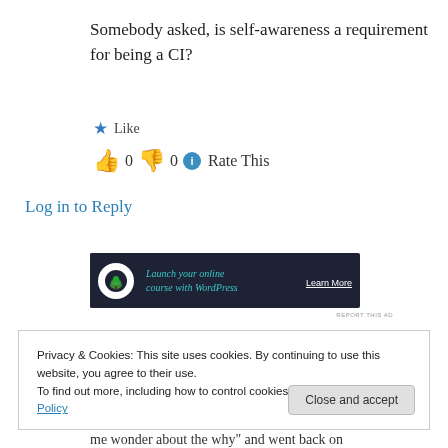Somebody asked, is self-awareness a requirement for being a CI?
★ Like
👍 0 👎 0 ℹ Rate This
Log in to Reply
[Figure (other): Advertisement banner: dark background with tree logo, text 'Launch your online course with WordPress' and 'Learn More' button]
REPORT THIS AD
Privacy & Cookies: This site uses cookies. By continuing to use this website, you agree to their use.
To find out more, including how to control cookies, see here: Cookie Policy
Close and accept
me wonder about the why" and went back on